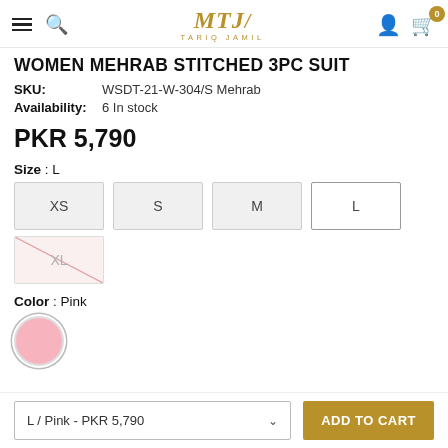MTJ TARIQ JAMIL — navigation header with hamburger, search, logo, user icon, cart (0)
WOMEN MEHRAB STITCHED 3PC SUIT
SKU: WSDT-21-W-304/S Mehrab
Availability: 6 In stock
PKR 5,790
Size : L
XS
S
M
L
XL (unavailable)
Color : Pink
[Figure (other): Pink color swatch circle]
L / Pink - PKR 5,790
ADD TO CART